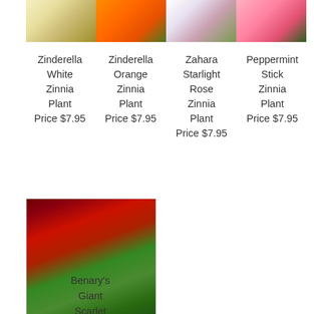[Figure (photo): Four flower photos in a row: white zinnia, orange zinnia, pink/white starlight rose zinnia, peppermint stick zinnia]
Zinderella White Zinnia Plant
Price $7.95
Zinderella Orange Zinnia Plant
Price $7.95
Zahara Starlight Rose Zinnia Plant
Price $7.95
Peppermint Stick Zinnia Plant
Price $7.95
[Figure (photo): Benary's Giant Scarlet zinnia plant with deep red flowers and green foliage]
Benary's Giant Scarlet